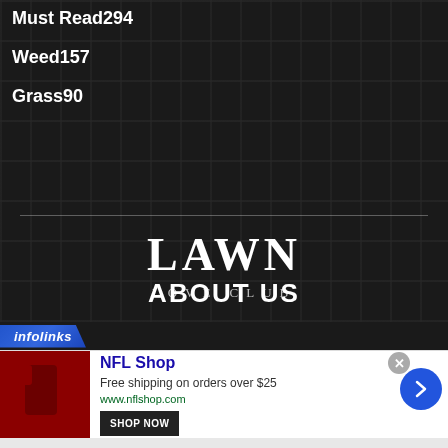Must Read294
Weed157
Grass90
LAWN
LOVE CLUB
ABOUT US
[Figure (logo): infolinks badge/logo in blue diagonal shape]
[Figure (infographic): NFL Shop advertisement with red jersey image, Shop Now button, blue arrow circle button. Text: NFL Shop, Free shipping on orders over $25, www.nflshop.com]